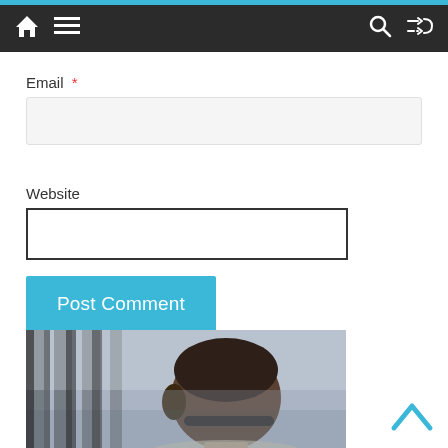Navigation bar with home, menu, search, and shuffle icons
Email *
Website
Post Comment
[Figure (photo): Person viewed from behind wearing sunglasses, standing near metal railings with a cityscape in the background]